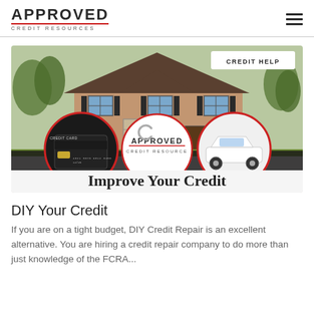APPROVED CREDIT RESOURCES
[Figure (illustration): Banner image showing a house with credit card circle, Approved Credit Resources logo circle, and white SUV circle. Text overlay reads 'CREDIT HELP' and 'Improve Your Credit'.]
DIY Your Credit
If you are on a tight budget, DIY Credit Repair is an excellent alternative. You are hiring a credit repair company to do more than just knowledge of the FCRA...